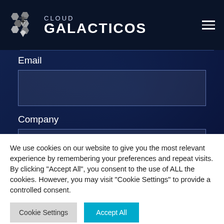[Figure (logo): Cloud Galacticos logo with hexagonal star emblem in silver/chrome and brand text reading CLOUD GALACTICOS]
Email
Company
We use cookies on our website to give you the most relevant experience by remembering your preferences and repeat visits. By clicking "Accept All", you consent to the use of ALL the cookies. However, you may visit "Cookie Settings" to provide a controlled consent.
Cookie Settings
Accept All